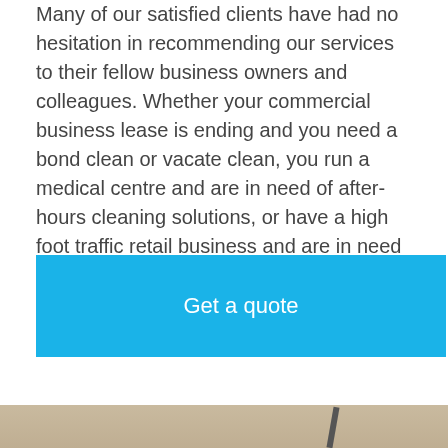Many of our satisfied clients have had no hesitation in recommending our services to their fellow business owners and colleagues. Whether your commercial business lease is ending and you need a bond clean or vacate clean, you run a medical centre and are in need of after-hours cleaning solutions, or have a high foot traffic retail business and are in need of commercial carpet cleaning, M&M is up to the task.
[Figure (other): Blue button with white text 'Get a quote']
[Figure (photo): Carpet cleaning machine on beige carpet with a dark navy blue bar across the top left and a phone/call icon (dark blue handset with blue wifi/sound waves) in the upper right corner]